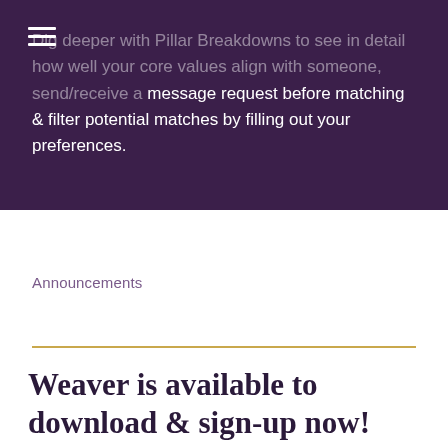Dig deeper with Pillar Breakdowns to see in detail how well your core values align with someone, send/receive a message request before matching & filter potential matches by filling out your preferences.
Announcements
Weaver is available to download & sign-up now!